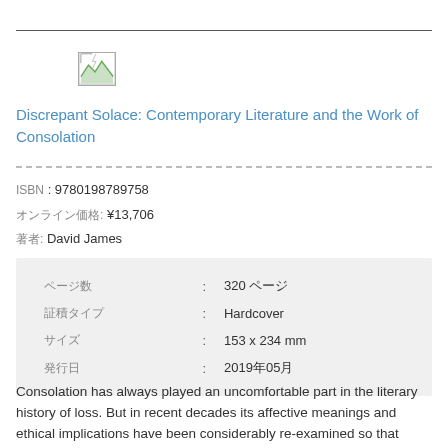[Figure (illustration): Broken/placeholder book cover image thumbnail with a small landscape graphic]
Discrepant Solace: Contemporary Literature and the Work of Consolation
ISBN : 9780198789758
オンライン価格: ¥13,706
著者: David James
|  | : |  |
| --- | --- | --- |
| ページ数 | : | 320 ページ |
| 製本タイプ | : | Hardcover |
| サイズ | : | 153 x 234 mm |
| 発行日 | : | 2019年05月 |
Consolation has always played an uncomfortable part in the literary history of loss. But in recent decades its affective meanings and ethical implications have been considerably re-examined so that more